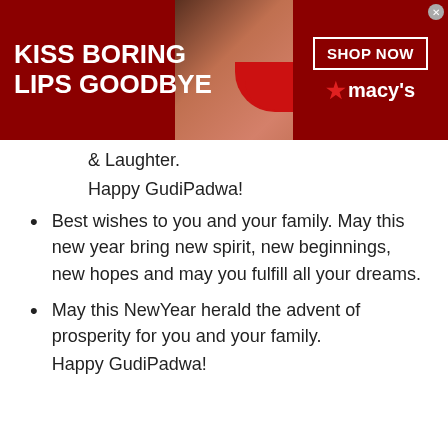[Figure (screenshot): Top advertisement banner: 'KISS BORING LIPS GOODBYE' with woman's face and lips, SHOP NOW button, Macy's logo with star]
& Laughter.
Happy GudiPadwa!
Best wishes to you and your family. May this new year bring new spirit, new beginnings, new hopes and may you fulfill all your dreams.
May this NewYear herald the advent of prosperity for you and your family.
Happy GudiPadwa!
[Figure (screenshot): Bottom advertisement: Online Home Store for Furniture - Shop Wayfair for A Zillion Things Home across all styles, www.wayfair.com]